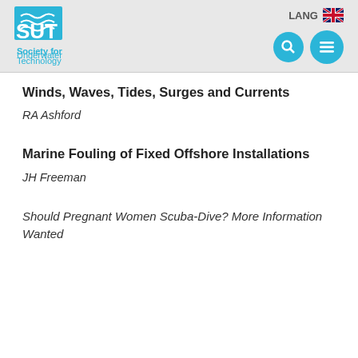SUT Society for Underwater Technology | LANG
Winds, Waves, Tides, Surges and Currents
RA Ashford
Marine Fouling of Fixed Offshore Installations
JH Freeman
Should Pregnant Women Scuba-Dive? More Information Wanted